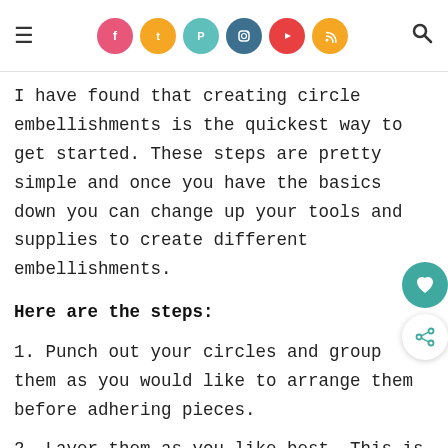[hamburger menu] [social icons: facebook, twitter, pinterest, instagram, youtube, rss] [search]
I have found that creating circle embellishments is the quickest way to get started. These steps are pretty simple and once you have the basics down you can change up your tools and supplies to create different embellishments.
Here are the steps:
1. Punch out your circles and group them as you would like to arrange them before adhering pieces.
2. Layer them as you like best. This is where I